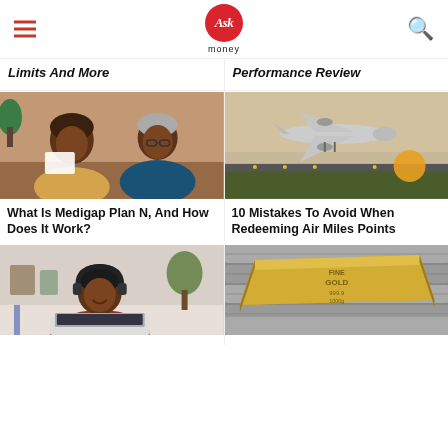[Figure (logo): Ask Money logo with red circle containing 'Ask' in white italic text and 'money' below]
Limits And More
Performance Review
[Figure (photo): Elderly Black couple smiling and reviewing papers/cards together at a table]
[Figure (photo): Airplane landing or taking off at sunset with orange sun in background]
What Is Medigap Plan N, And How Does It Work?
10 Mistakes To Avoid When Redeeming Air Miles Points
[Figure (photo): Young man with headphones working on laptop, smiling]
[Figure (photo): Gold bar resting on silver/grey metal bars or blocks]